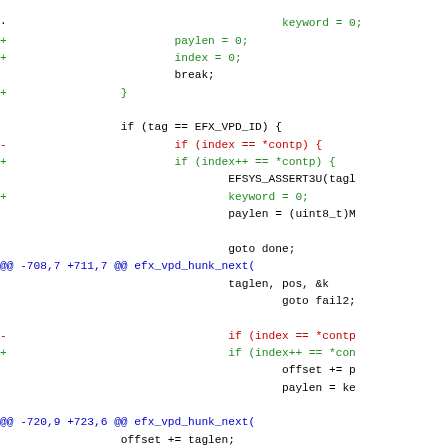[Figure (other): Diff/patch view of source code showing additions (green), deletions (red), and context (black/blue) for a C code file related to EFX VPD functions]